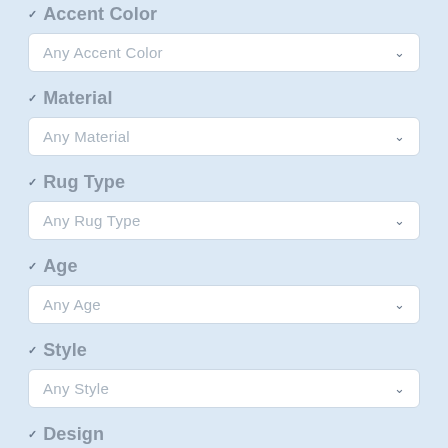Accent Color
Any Accent Color
Material
Any Material
Rug Type
Any Rug Type
Age
Any Age
Style
Any Style
Design
Any Design